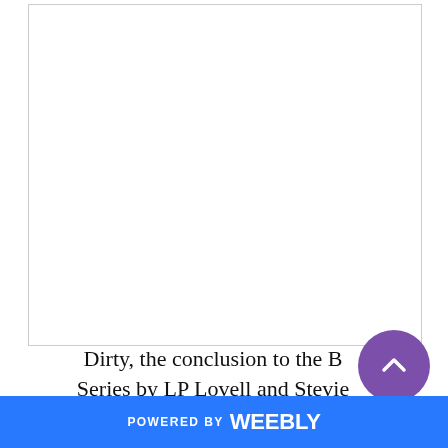[Figure (other): White rectangular box with thin border, representing a book cover or image placeholder area]
Dirty, the conclusion to the B Series by LP Lovell and Stevie Cole is NOW AVAILABLE!
POWERED BY weebly